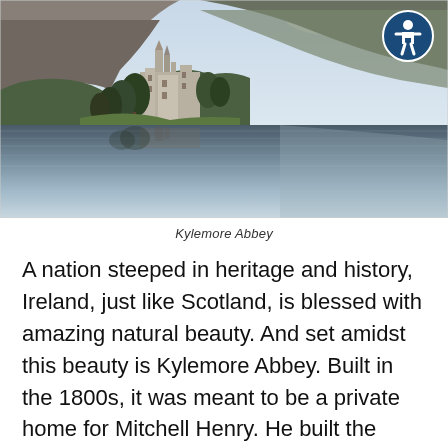[Figure (photo): Kylemore Abbey reflected in a calm lake, with mountains and trees in the background. An accessibility icon (wheelchair symbol in a blue circle) overlays the top-right corner.]
Kylemore Abbey
A nation steeped in heritage and history, Ireland, just like Scotland, is blessed with amazing natural beauty. And set amidst this beauty is Kylemore Abbey. Built in the 1800s, it was meant to be a private home for Mitchell Henry. He built the home to be an ode to modernity, Ireland, and his beloved wife. Today, this quiet little place, just an hour away